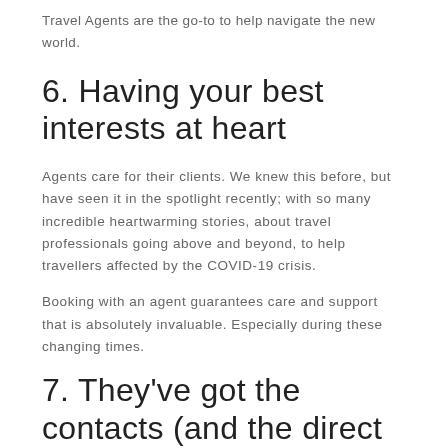Travel Agents are the go-to to help navigate the new world.
6. Having your best interests at heart
Agents care for their clients. We knew this before, but have seen it in the spotlight recently; with so many incredible heartwarming stories, about travel professionals going above and beyond, to help travellers affected by the COVID-19 crisis.
Booking with an agent guarantees care and support that is absolutely invaluable. Especially during these changing times.
7. They’ve got the contacts (and the direct phone numbers!)